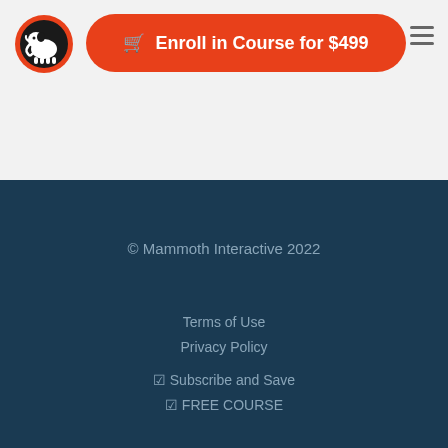[Figure (logo): Mammoth Interactive logo — white mammoth silhouette on black circle with orange border]
Enroll in Course for $499
© Mammoth Interactive 2022
Terms of Use
Privacy Policy
☑ Subscribe and Save
☑ FREE COURSE